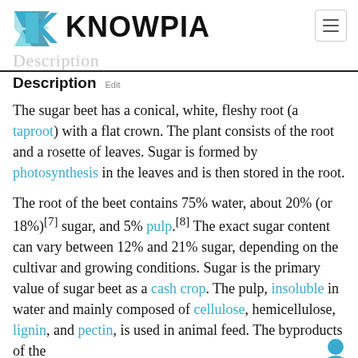KNOWPIA
Description Edit
The sugar beet has a conical, white, fleshy root (a taproot) with a flat crown. The plant consists of the root and a rosette of leaves. Sugar is formed by photosynthesis in the leaves and is then stored in the root.
The root of the beet contains 75% water, about 20% (or 18%)[7] sugar, and 5% pulp.[8] The exact sugar content can vary between 12% and 21% sugar, depending on the cultivar and growing conditions. Sugar is the primary value of sugar beet as a cash crop. The pulp, insoluble in water and mainly composed of cellulose, hemicellulose, lignin, and pectin, is used in animal feed. The byproducts of the